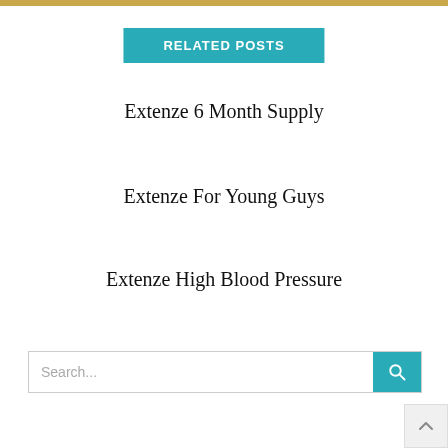RELATED POSTS
Extenze 6 Month Supply
Extenze For Young Guys
Extenze High Blood Pressure